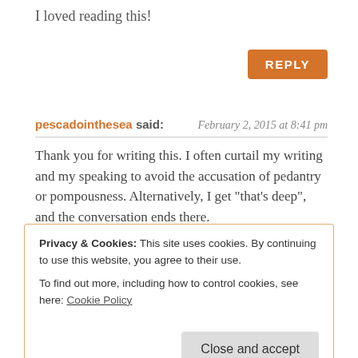I loved reading this!
REPLY
pescadointhesea said:    February 2, 2015 at 8:41 pm
Thank you for writing this. I often curtail my writing and my speaking to avoid the accusation of pedantry or pompousness. Alternatively, I get "that's deep", and the conversation ends there.
That is not as woeful as it sounds. There is a valuable lesson there.
What I have learned from those instances is that packaging is
Privacy & Cookies: This site uses cookies. By continuing to use this website, you agree to their use.
To find out more, including how to control cookies, see here: Cookie Policy
Close and accept
think most academics solely have their colleagues in mind